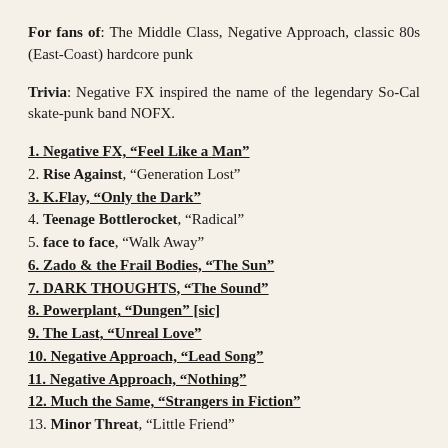For fans of: The Middle Class, Negative Approach, classic 80s (East-Coast) hardcore punk
Trivia: Negative FX inspired the name of the legendary So-Cal skate-punk band NOFX.
1. Negative FX, “Feel Like a Man”
2. Rise Against, “Generation Lost”
3. K.Flay, “Only the Dark”
4. Teenage Bottlerocket, “Radical”
5. face to face, “Walk Away”
6. Zado & the Frail Bodies, “The Sun”
7. DARK THOUGHTS, “The Sound”
8. Powerplant, “Dungen” [sic]
9. The Last, “Unreal Love”
10. Negative Approach, “Lead Song”
11. Negative Approach, “Nothing”
12. Much the Same, “Strangers in Fiction”
13. Minor Threat, “Little Friend”